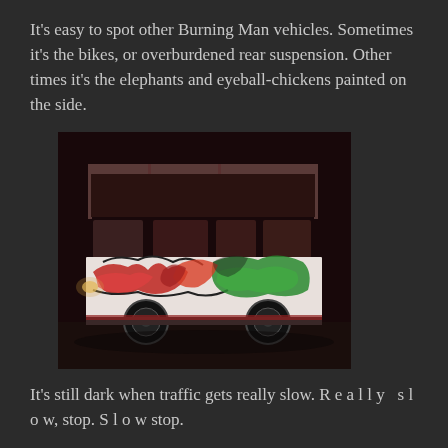It's easy to spot other Burning Man vehicles. Sometimes it's the bikes, or overburdened rear suspension. Other times it's the elephants and eyeball-chickens painted on the side.
[Figure (photo): A customized bus/vehicle covered in colorful graffiti art featuring red and green painted animals and abstract designs, photographed at night. The bus has an open upper deck frame/rack and large wheels visible.]
It's still dark when traffic gets really slow. R e a l l y  s l o w, stop. S l o w stop.
It looks like the last scene from Field of Dreams.